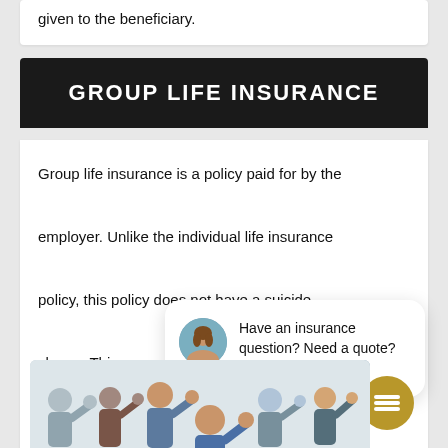given to the beneficiary.
GROUP LIFE INSURANCE
Group life insurance is a policy paid for by the employer. Unlike the individual life insurance policy, this policy does not have a suicide clause. This [person] passes awa[y, there is a] payout to t[he beneficiary].
[Figure (screenshot): Chat popup widget with avatar photo of a woman and text: 'Have an insurance question? Need a quote? Text us here!' with a close button and gold chat icon button]
[Figure (photo): Group of diverse business people giving thumbs up gesture]